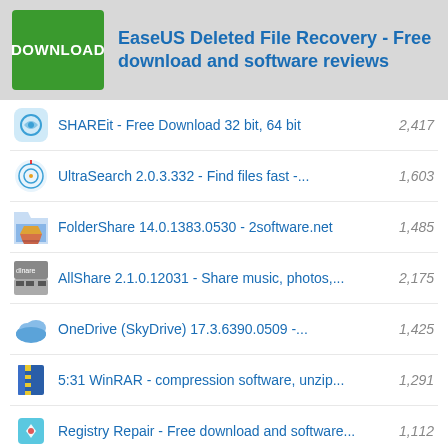EaseUS Deleted File Recovery - Free download and software reviews
SHAREit - Free Download 32 bit, 64 bit
UltraSearch 2.0.3.332 - Find files fast -...
FolderShare 14.0.1383.0530 - 2software.net
AllShare 2.1.0.12031 - Share music, photos,...
OneDrive (SkyDrive) 17.3.6390.0509 -...
5:31 WinRAR - compression software, unzip...
Registry Repair - Free download and software...
XPS Annotator - Free download and software...
Directory List & Print Pro - Free download...
Cloud System Booster - Free download and...
Download Accelerator Manager - Free download...